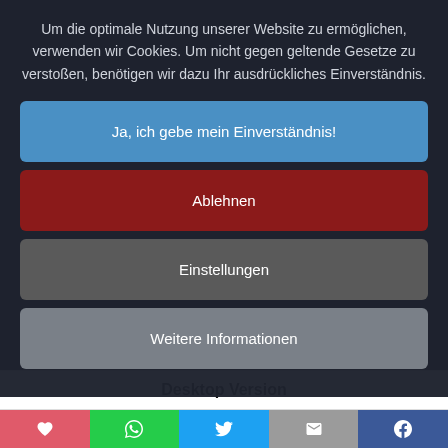Um die optimale Nutzung unserer Website zu ermöglichen, verwenden wir Cookies. Um nicht gegen geltende Gesetze zu verstoßen, benötigen wir dazu Ihr ausdrückliches Einverständnis.
Ja, ich gebe mein Einverständnis!
Ablehnen
Einstellungen
Weitere Informationen
Kundenmmo   Autoren   Jobs   DO-Promotion buchen
Desktop Version